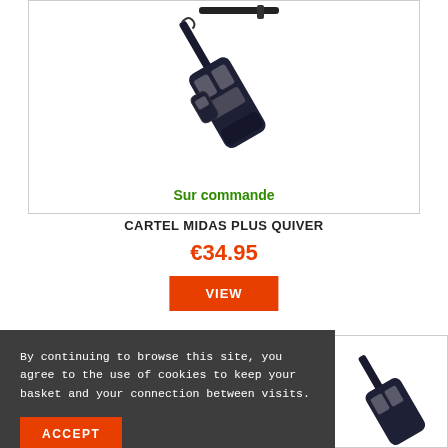[Figure (photo): Product photo of Cartel Midas Plus Quiver archery accessory on white background]
Sur commande
CARTEL MIDAS PLUS QUIVER
€34.95
VIEW
By continuing to browse this site, you agree to the use of cookies to keep your basket and your connection between visits.
ACCEPT